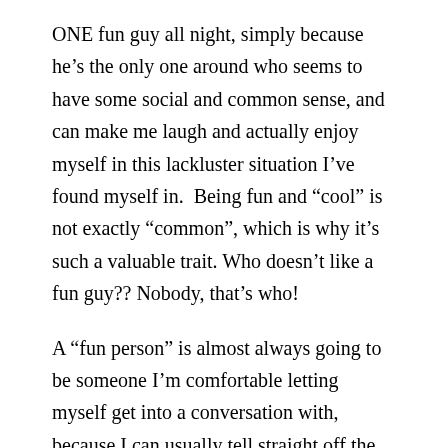ONE fun guy all night, simply because he’s the only one around who seems to have some social and common sense, and can make me laugh and actually enjoy myself in this lackluster situation I’ve found myself in.  Being fun and “cool” is not exactly “common”, which is why it’s such a valuable trait. Who doesn’t like a fun guy?? Nobody, that’s who!
A “fun person” is almost always going to be someone I’m comfortable letting myself get into a conversation with, because I can usually tell straight off the bat that I’m going to enjoy myself which allows me to put my guard down.  If a fun person is turning me off, it’s usually because they’ve gotten too drunk and are taking things a bit too far.